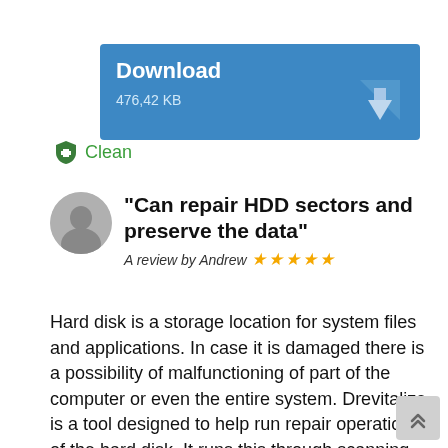[Figure (infographic): Blue download button box with text 'Download' and '476,42 KB' and a download arrow icon]
Clean
"Can repair HDD sectors and preserve the data" A review by Andrew ★★★★★
Hard disk is a storage location for system files and applications. In case it is damaged there is a possibility of malfunctioning of part of the computer or even the entire system. Drevitalize is a tool designed to help run repair operations of the hard disk. It runs this through scanning the system to detect which sectors are spoilt and finally run diagnostic procedures to curb the menace. The tool